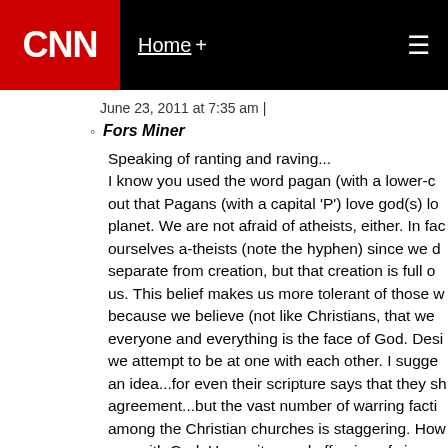CNN | Home +
June 23, 2011 at 7:35 am |
Fors Miner
Speaking of ranting and raving... I know you used the word pagan (with a lower-c out that Pagans (with a capital 'P') love god(s) lo planet. We are not afraid of atheists, either. In fac ourselves a-theists (note the hyphen) since we d separate from creation, but that creation is full o us. This belief makes us more tolerant of those w because we believe (not like Christians, that we everyone and everything is the face of God. Desi we attempt to be at one with each other. I sugge an idea...for even their scripture says that they sh agreement...but the vast number of warring facti among the Christian churches is staggering. How one with God. Hypocrites and offspring of vipers rafter out of your own eye before you try to remo